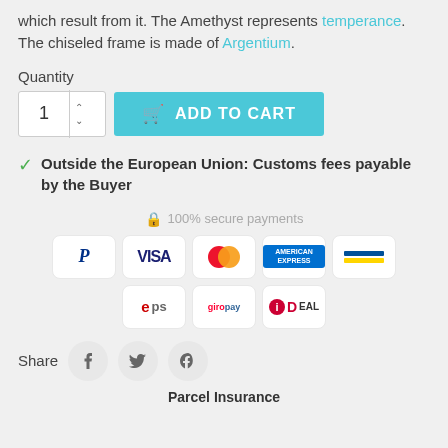which result from it. The Amethyst represents temperance. The chiseled frame is made of Argentium.
Quantity
[Figure (screenshot): Quantity input spinner with value 1 and up/down arrows, plus a teal 'ADD TO CART' button with shopping cart icon]
Outside the European Union: Customs fees payable by the Buyer
[Figure (infographic): 100% secure payments badge with lock icon and payment method logos: PayPal, VISA, Mastercard, American Express, Bancontact, eps, giropay, iDEAL]
Share
[Figure (infographic): Social share buttons: Facebook, Twitter, Pinterest]
Parcel Insurance